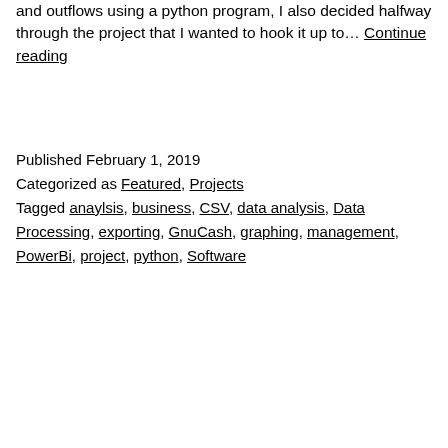and outflows using a python program, I also decided halfway through the project that I wanted to hook it up to… Continue reading
Published February 1, 2019
Categorized as Featured, Projects
Tagged anaylsis, business, CSV, data analysis, Data Processing, exporting, GnuCash, graphing, management, PowerBi, project, python, Software